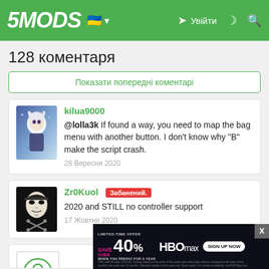5MODS — Увійти
128 коментаря
Показати попередні коментарі
kilua9000
@lolla3k If found a way, you need to map the bag menu with another button. I don't know why "B" make the script crash.
28 Вересня 2020
Zr0Kuol [Забанений.]
2020 and STILL no controller support
17 Жовтня 2020
[Figure (screenshot): HBO Max advertisement banner: LIMITED-TIME OFFER SAVE OVER 40% WHEN YOU PREPAY FOR A YEAR, SIGN UP NOW]